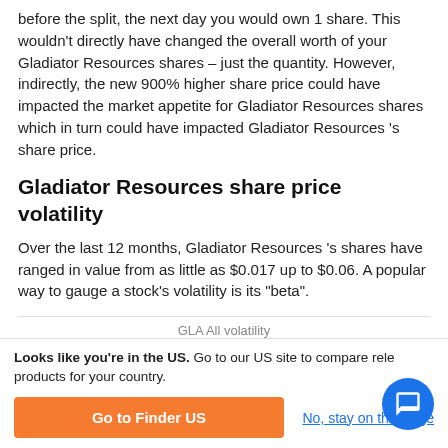before the split, the next day you would own 1 share. This wouldn't directly have changed the overall worth of your Gladiator Resources shares – just the quantity. However, indirectly, the new 900% higher share price could have impacted the market appetite for Gladiator Resources shares which in turn could have impacted Gladiator Resources 's share price.
Gladiator Resources share price volatility
Over the last 12 months, Gladiator Resources 's shares have ranged in value from as little as $0.017 up to $0.06. A popular way to gauge a stock's volatility is its "beta".
GLA All volatility
Looks like you're in the US. Go to our US site to compare rele products for your country.
Go to Finder US
No, stay on this page